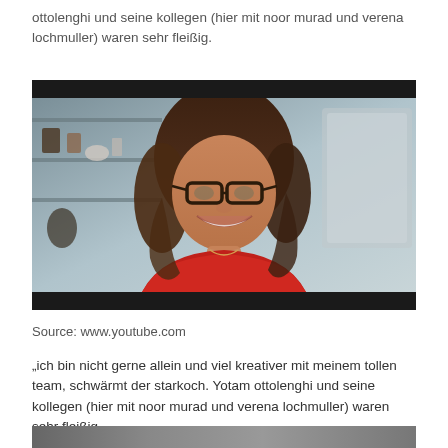ottolenghi und seine kollegen (hier mit noor murad und verena lochmuller) waren sehr fleißig.
[Figure (photo): A smiling woman with curly dark hair and glasses wearing a red top, photographed in a professional kitchen setting. Black bars at top and bottom of the frame.]
Source: www.youtube.com
„ich bin nicht gerne allein und viel kreativer mit meinem tollen team, schwärmt der starkoch. Yotam ottolenghi und seine kollegen (hier mit noor murad und verena lochmuller) waren sehr fleißig.
[Figure (photo): Partial photo strip at the bottom of the page, cropped.]